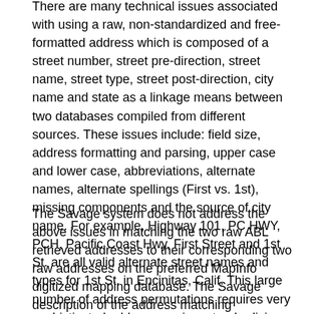There are many technical issues associated with using a raw, non-standardized and free-formatted address which is composed of a street number, street pre-direction, street name, street type, street post-direction, city name and state as a linkage means between two databases compiled from different sources. These issues include: field size, address formatting and parsing, upper case and lower case, abbreviations, alternate names, alternate spellings (First vs. 1st), missing components and the source of city name. For example, Highway 101, PC HWY, PCH, Pacific Coast Hwy, First Street and 1st St. are all valid alternate street names and types for 1st St. in Encinitas, Calif. This large number of address permutations requires very sophisticated address parsing, standardizing, sorting, matching and scoring algorithms to correctly match raw addresses from two independent databases.
The Savage system does not address the above issues in matching the two raw ABL retrieved addresses to their corresponding two raw addresses on the preferred MapInfo digitized mapping database. The Savage description of the address matching embodiment is: "the central processor will retrieve from the geodata digitized mapping database the routing data correlated to the